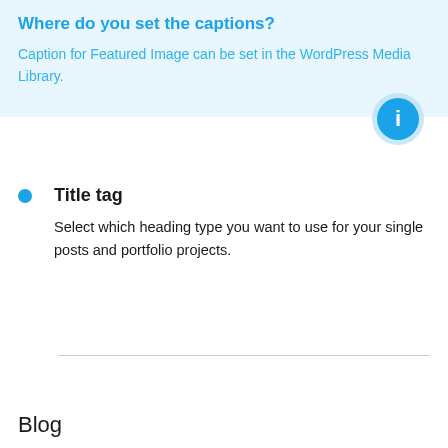Where do you set the captions?
Caption for Featured Image can be set in the WordPress Media Library.
[Figure (infographic): Blue circle info icon button]
Title tag
Select which heading type you want to use for your single posts and portfolio projects.
Blog